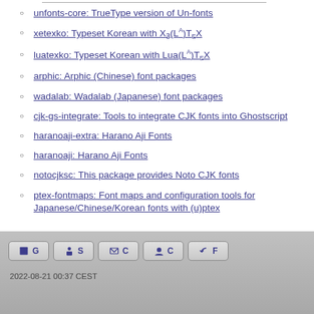unfonts-core: TrueType version of Un-fonts
xetexko: Typeset Korean with XƎ(LA)TEX
luatexko: Typeset Korean with Lua(LA)TEX
arphic: Arphic (Chinese) font packages
wadalab: Wadalab (Japanese) font packages
cjk-gs-integrate: Tools to integrate CJK fonts into Ghostscript
haranoaji-extra: Harano Aji Fonts
haranoaji: Harano Aji Fonts
notocjksc: This package provides Noto CJK fonts
ptex-fontmaps: Font maps and configuration tools for Japanese/Chinese/Korean fonts with (u)ptex
2022-08-21 00:37 CEST